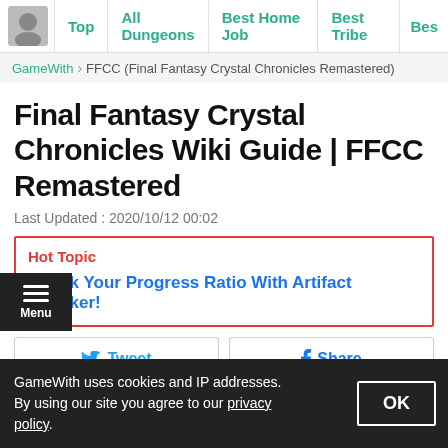Top | All Dungeons | Best Home Job | Best Tribe | Bes
GameWith > FFCC (Final Fantasy Crystal Chronicles Remastered)
Final Fantasy Crystal Chronicles Wiki Guide | FFCC Remastered
Last Updated : 2020/10/12 00:02
Hot Topic
Check Your Progress Ratio With Artifact Checker!
Tweet
Share
Welcome to the Final Fantasy Crystal Chronicles Remastered (Switch
GameWith uses cookies and IP addresses. By using our site you agree to our privacy policy.